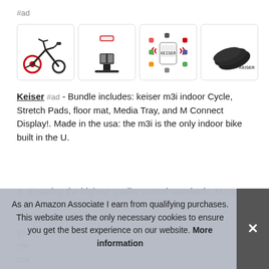#ad
[Figure (photo): Four product images in rounded boxes: 1) Keiser M3i indoor cycling bike (black/red), 2) Media tray/tablet holder accessory on stand, 3) M Connect wireless display device with app icons around it, 4) Black floor mat/yoga mat]
Keiser #ad - Bundle includes: keiser m3i indoor Cycle, Stretch Pads, floor mat, Media Tray, and M Connect Display!. Made in the usa: the m3i is the only indoor bike built in the U.
S. Ensuring the highest quality control standards. M connect - the your elec mai gym.
As an Amazon Associate I earn from qualifying purchases. This website uses the only necessary cookies to ensure you get the best experience on our website. More information